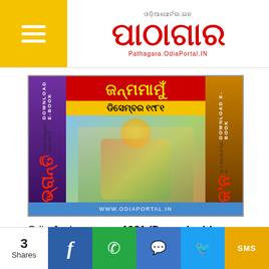Pathagara.OdiaPortal.IN - Odia Portal logo header
[Figure (illustration): Odia Janhamamu magazine cover for December 1981 issue showing deity illustration with colorful panels on left and right with DOWNLOAD E-BOOK text, center title in Odia script, and www.odiaportal.in footer bar]
Odia Janhamamu - 1981 (December) Issue Magazine - Download Free e-Book (HQ PDF):
[Figure (infographic): Social share bar with share count 3 Shares, Facebook, WhatsApp, Messenger, Twitter, and SMS buttons]